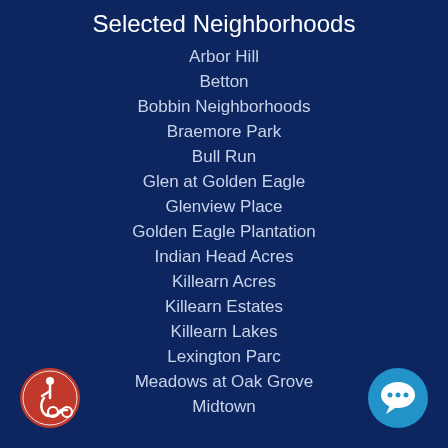Selected Neighborhoods
Arbor Hill
Betton
Bobbin Neighborhoods
Braemore Park
Bull Run
Glen at Golden Eagle
Glenview Place
Golden Eagle Plantation
Indian Head Acres
Killearn Acres
Killearn Estates
Killearn Lakes
Lexington Parc
Meadows at Oak Grove
Midtown
[Figure (illustration): Accessibility wheelchair icon in red circle, bottom left]
[Figure (illustration): Chat bubble icon in blue circle, bottom right]